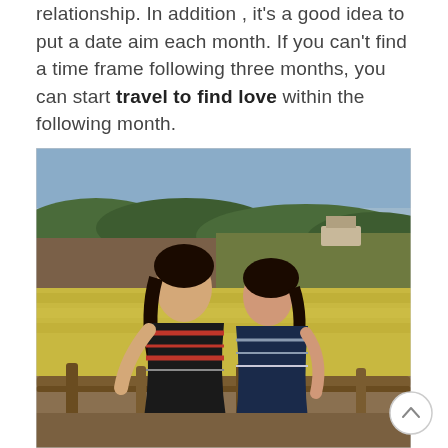relationship. In addition , it's a good idea to put a date aim each month. If you can't find a time frame following three months, you can start travel to find love within the following month.
[Figure (photo): Two young women in traditional striped dresses sitting on a wooden fence in front of golden rice paddy fields. One woman rests her head on the other's shoulder. Green hills and a building are visible in the background under a cloudy sky.]